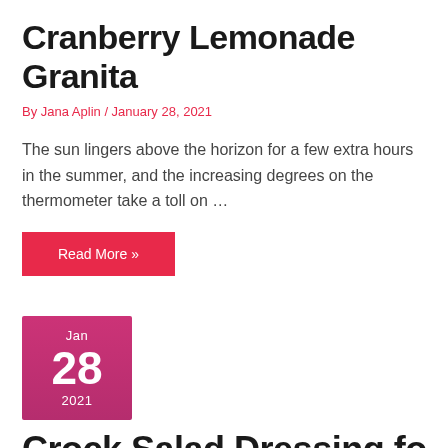Cranberry Lemonade Granita
By Jana Aplin / January 28, 2021
The sun lingers above the horizon for a few extra hours in the summer, and the increasing degrees on the thermometer take a toll on …
Read More »
[Figure (other): Date block widget showing Jan 28 2021 in pink/magenta gradient square]
Crock Salad Dressing for the …